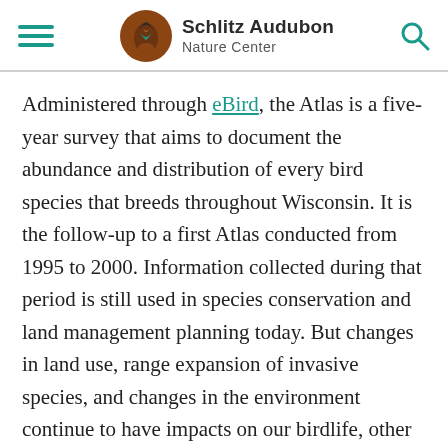Schlitz Audubon Nature Center
Administered through eBird, the Atlas is a five-year survey that aims to document the abundance and distribution of every bird species that breeds throughout Wisconsin. It is the follow-up to a first Atlas conducted from 1995 to 2000. Information collected during that period is still used in species conservation and land management planning today. But changes in land use, range expansion of invasive species, and changes in the environment continue to have impacts on our birdlife, other wildlife, and natural resources. The atlas will play a key role in assessing some of those impacts for all Wisconsin bird species.